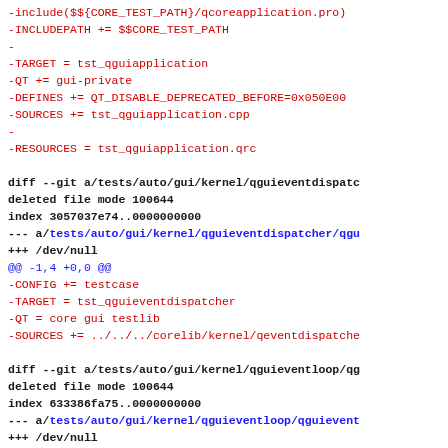-include($${CORE_TEST_PATH}/qcoreapplication.pro)
-INCLUDEPATH += $$CORE_TEST_PATH
-
-TARGET = tst_qguiapplication
-QT += gui-private
-DEFINES += QT_DISABLE_DEPRECATED_BEFORE=0x050E00
-SOURCES += tst_qguiapplication.cpp
-
-RESOURCES = tst_qguiapplication.qrc
diff --git a/tests/auto/gui/kernel/qguieventdispatc
deleted file mode 100644
index 3057037e74..0000000000
--- a/tests/auto/gui/kernel/qguieventdispatcher/qgu
+++ /dev/null
@@ -1,4 +0,0 @@
-CONFIG += testcase
-TARGET = tst_qguieventdispatcher
-QT = core gui testlib
-SOURCES += ../../../corelib/kernel/qeventdispatche
diff --git a/tests/auto/gui/kernel/qguieventloop/qg
deleted file mode 100644
index 633386fa75..0000000000
--- a/tests/auto/gui/kernel/qguieventloop/qguievent
+++ /dev/null
@@ -1,3 +0,0 @@
-include(../../../corelib/kernel/qeventl
-TARGET = tst_qguieventloop
-QT += gui